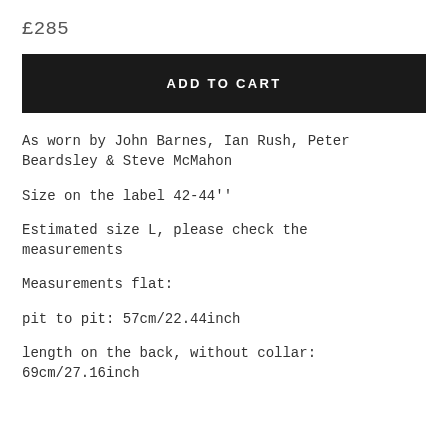£285
ADD TO CART
As worn by John Barnes, Ian Rush, Peter Beardsley & Steve McMahon
Size on the label 42-44''
Estimated size L, please check the measurements
Measurements flat:
pit to pit: 57cm/22.44inch
length on the back, without collar: 69cm/27.16inch